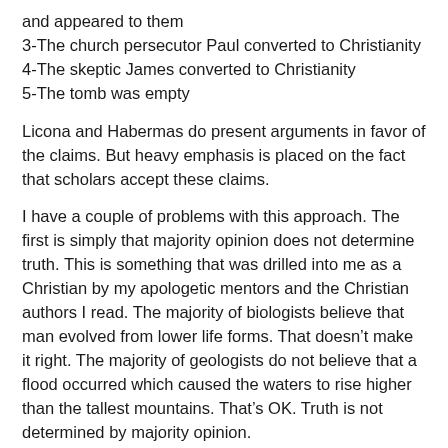and appeared to them
3-The church persecutor Paul converted to Christianity
4-The skeptic James converted to Christianity
5-The tomb was empty
Licona and Habermas do present arguments in favor of the claims. But heavy emphasis is placed on the fact that scholars accept these claims.
I have a couple of problems with this approach. The first is simply that majority opinion does not determine truth. This is something that was drilled into me as a Christian by my apologetic mentors and the Christian authors I read. The majority of biologists believe that man evolved from lower life forms. That doesn’t make it right. The majority of geologists do not believe that a flood occurred which caused the waters to rise higher than the tallest mountains. That’s OK. Truth is not determined by majority opinion.
The next major problem I have with this is that Habermas and Licona seem to only focus on those facts accepted by the majority of scholarship that benefit the Christian